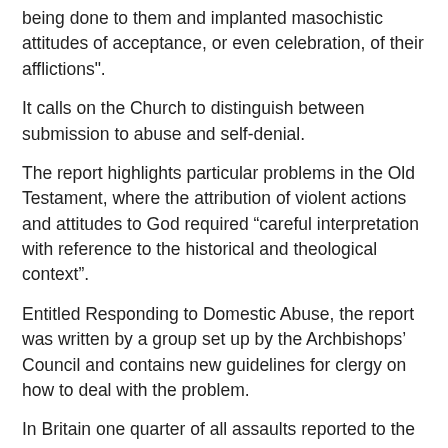being done to them and implanted masochistic attitudes of acceptance, or even celebration, of their afflictions".
It calls on the Church to distinguish between submission to abuse and self-denial.
The report highlights particular problems in the Old Testament, where the attribution of violent actions and attitudes to God required “careful interpretation with reference to the historical and theological context”.
Entitled Responding to Domestic Abuse, the report was written by a group set up by the Archbishops’ Council and contains new guidelines for clergy on how to deal with the problem.
In Britain one quarter of all assaults reported to the police are defined as domestic abuse. An average of two women a week are killed by their partner or former partners in England and Wales and nearly half of all female murder victims are killed by their present or former partners. Most victims also put up with an average of 35 assaults before calling the